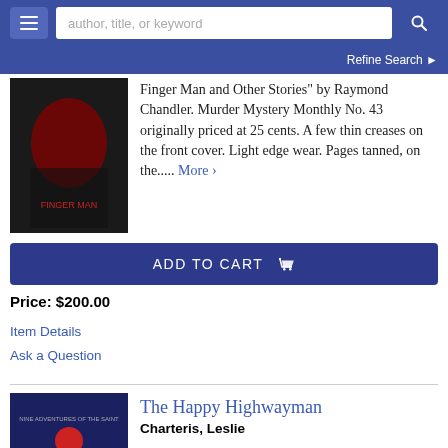author, title, or keyword | Refine Search
Finger Man and Other Stories" by Raymond Chandler. Murder Mystery Monthly No. 43 originally priced at 25 cents. A few thin creases on the front cover. Light edge wear. Pages tanned, on the..... More >
ADD TO CART
Price: $200.00
Item Details
Ask a Question
The Happy Highwayman
Charteris, Leslie